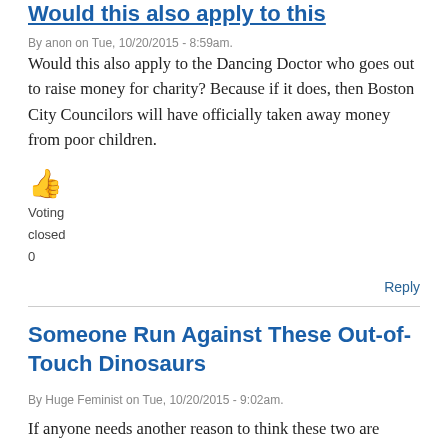Would this also apply to this
By anon on Tue, 10/20/2015 - 8:59am.
Would this also apply to the Dancing Doctor who goes out to raise money for charity? Because if it does, then Boston City Councilors will have officially taken away money from poor children.
Voting
closed
0
Reply
Someone Run Against These Out-of-Touch Dinosaurs
By Huge Feminist on Tue, 10/20/2015 - 9:02am.
If anyone needs another reason to think these two are among the most worthless members ever on the Council (which is